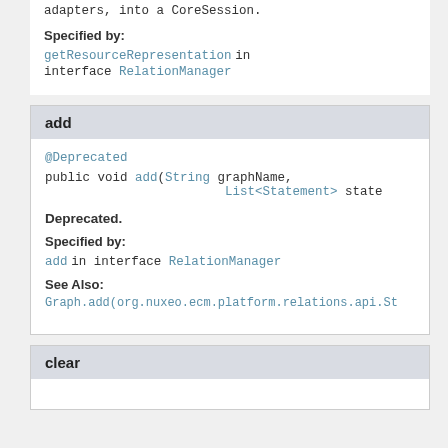adapters, into a CoreSession.
Specified by:
getResourceRepresentation in interface RelationManager
add
@Deprecated
public void add(String graphName,
                              List<Statement> state
Deprecated.
Specified by:
add in interface RelationManager
See Also:
Graph.add(org.nuxeo.ecm.platform.relations.api.St
clear